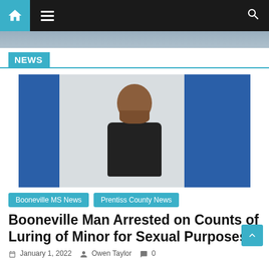Navigation bar with home, menu, and search icons
[Figure (photo): Partial photo strip visible at top of page, appears to be a person or scene]
NEWS
[Figure (photo): Mugshot-style photo of a heavyset man with reddish beard and long reddish hair, wearing a black zip hoodie, standing against a white cinder block wall with blue doors on either side]
Booneville MS News   Prentiss County News
Booneville Man Arrested on Counts of Luring of Minor for Sexual Purposes
January 1, 2022   Owen Taylor   0